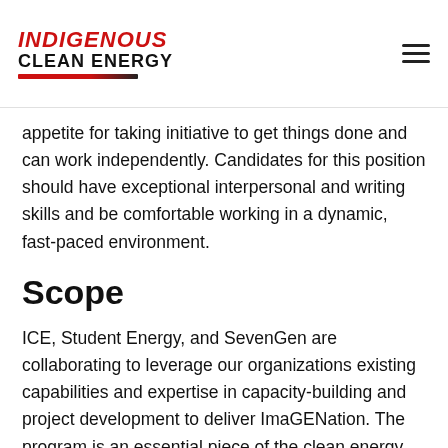INDIGENOUS CLEAN ENERGY
appetite for taking initiative to get things done and can work independently. Candidates for this position should have exceptional interpersonal and writing skills and be comfortable working in a dynamic, fast-paced environment.
Scope
ICE, Student Energy, and SevenGen are collaborating to leverage our organizations existing capabilities and expertise in capacity-building and project development to deliver ImaGENation. The program is an essential piece of the clean energy landscape in Canada that nurtures the leadership potential of Indigenous youth to advance a sustainable and equitable energy future.